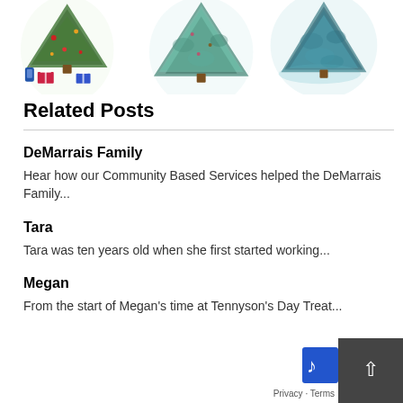[Figure (illustration): Three watercolor Christmas trees with gifts and decorations along the top of the page]
Related Posts
DeMarrais Family
Hear how our Community Based Services helped the DeMarrais Family...
Tara
Tara was ten years old when she first started working...
Megan
From the start of Megan's time at Tennyson's Day Treat...